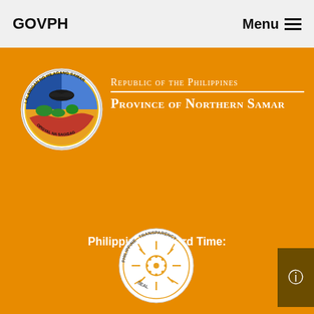GOVPH  Menu
[Figure (logo): Seal of the Province of Northern Samar - circular seal with text LALAWIGAN NG HILAGANG SAMAR and OPISYAL NA SAGISAG, showing a bat, trees, and landscape]
Republic of the Philippines
Province of Northern Samar
Philippine Standard Time:
[Figure (logo): Philippine Transparency Seal - circular seal with sun rays and text PHILIPPINE TRANSPARENCY SEAL]